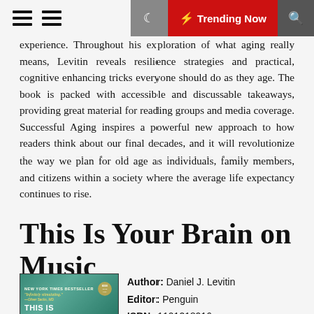☰ ☰  🌙  ⚡ Trending Now  🔍
experience. Throughout his exploration of what aging really means, Levitin reveals resilience strategies and practical, cognitive enhancing tricks everyone should do as they age. The book is packed with accessible and discussable takeaways, providing great material for reading groups and media coverage. Successful Aging inspires a powerful new approach to how readers think about our final decades, and it will revolutionize the way we plan for old age as individuals, family members, and citizens within a society where the average life expectancy continues to rise.
This Is Your Brain on Music
[Figure (photo): Book cover of 'This Is Your Brain on Music' with teal/green background, New York Times Bestseller badge, quote from Oliver Sacks MD]
Author: Daniel J. Levitin
Editor: Penguin
ISBN: 1101218916
FileSize: 781kb